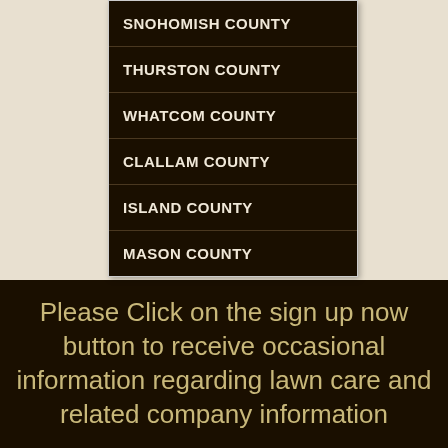SNOHOMISH COUNTY
THURSTON COUNTY
WHATCOM COUNTY
CLALLAM COUNTY
ISLAND COUNTY
MASON COUNTY
Please Click on the sign up now button to receive occasional information regarding lawn care and related company information